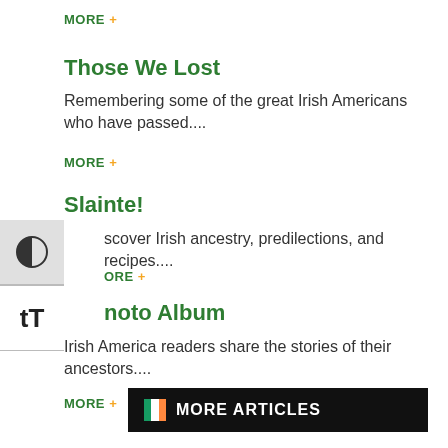MORE +
Those We Lost
Remembering some of the great Irish Americans who have passed....
MORE +
Slainte!
scover Irish ancestry, predilections, and recipes....
MORE +
noto Album
Irish America readers share the stories of their ancestors....
MORE +
[Figure (other): MORE ARTICLES button with Irish flag icon on black background]